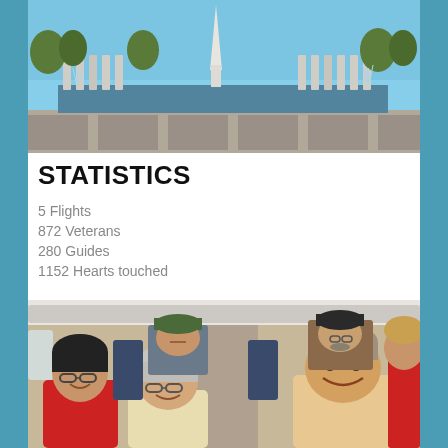[Figure (photo): Outdoor photo of the National World War II Memorial in Washington DC, showing fountains, pillars, a reflecting pool, and the Washington Monument in the background under a clear blue sky.]
STATISTICS
5 Flights
872 Veterans
280 Guides
1152 Hearts touched
[Figure (photo): Photo of elderly veterans and guides seated inside an airplane cabin, smiling and posed for the camera.]